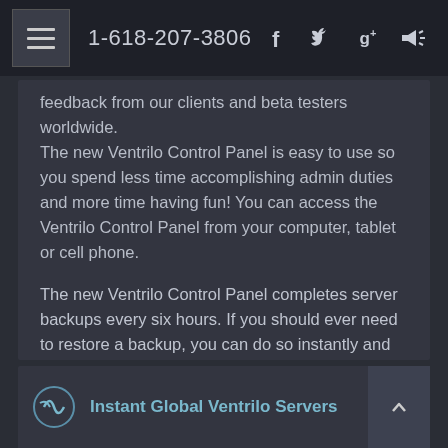1-618-207-3806
feedback from our clients and beta testers worldwide. The new Ventrilo Control Panel is easy to use so you spend less time accomplishing admin duties and more time having fun! You can access the Ventrilo Control Panel from your computer, tablet or cell phone.
The new Ventrilo Control Panel completes server backups every six hours. If you should ever need to restore a backup, you can do so instantly and choose a server snapshot from the past sixty days. You have full control over backups, restores, and settings. You can edit your server configuration and change every aspect of your Ventrilo Server including your Speex Codecs, at any time. Our custom control panel is exclusive and created by us, Clanwarz.
Instant Global Ventrilo Servers